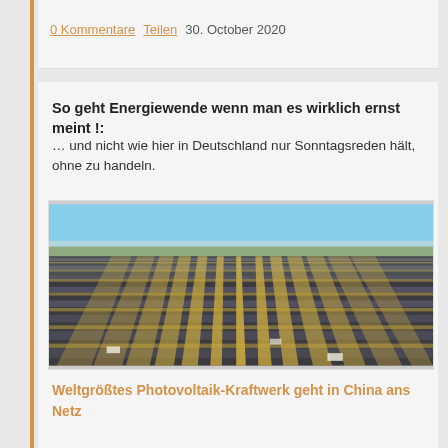0 Kommentare  Teilen  30. October 2020
So geht Energiewende wenn man es wirklich ernst meint !: … und nicht wie hier in Deutschland nur Sonntagsreden hält, ohne zu handeln.
[Figure (photo): Aerial view of a massive solar panel farm / photovoltaic power station, showing rows of solar panels stretching to the horizon under a blue sky.]
Weltgrößtes Photovoltaik-Kraftwerk geht in China ans Netz